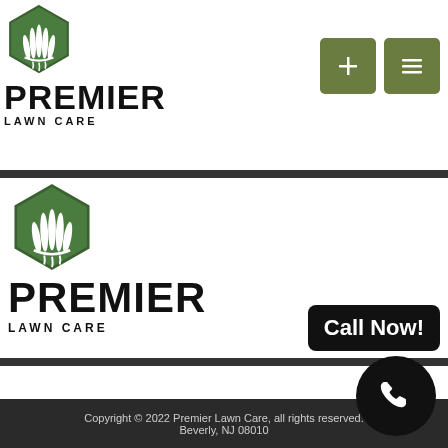[Figure (logo): Premier Lawn Care logo with green hexagon icon and grass blades, header version]
[Figure (map): Google Maps view of Burlington County NJ area showing Palmyra, Cinnaminson, Moorestown, Maple Shade, Mt Laurel Township, Hainesport, Lumberton, Fostertown, NJ Tpke, Route 295, Route 38, Route 90, Route 73]
[Figure (logo): Premier Lawn Care logo with green hexagon icon and grass blades, footer version]
[Figure (infographic): Call Now! button with phone icon circle]
Copyright © 2022 Premier Lawn Care, all rights reserved. Beverly, NJ 08010